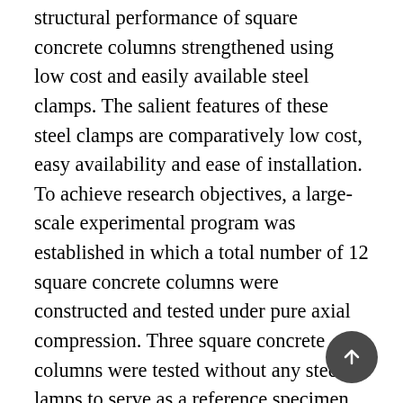structural performance of square concrete columns strengthened using low cost and easily available steel clamps. The salient features of these steel clamps are comparatively low cost, easy availability and ease of installation. To achieve research objectives, a large-scale experimental program was established in which a total number of 12 square concrete columns were constructed and tested under pure axial compression. Three square concrete columns were tested without any steel lamps to serve as a reference specimen. Whereas, remaining concrete columns were externally strengthened using steel clamps. The steel clamps were installed at a different spacing to investigate the best configuration of the steel clamps. The experimental results indicate that steel clamps are very effective in altering the structural performance of the square concrete columns. The square concrete columns externally strengthened using steel clamps